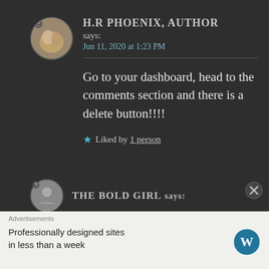[Figure (photo): Circular avatar photo showing a cat being held, with a person icon overlay at top-left]
H.R PHOENIX, AUTHOR
says:
Jun 11, 2020 at 1:23 PM
Go to your dashboard, head to the comments section and there is a delete button!!!!
★ Liked by 1 person
[Figure (photo): Circular avatar (small, partially visible, grey)]
THE BOLD GIRL says:
Advertisements
Professionally designed sites in less than a week